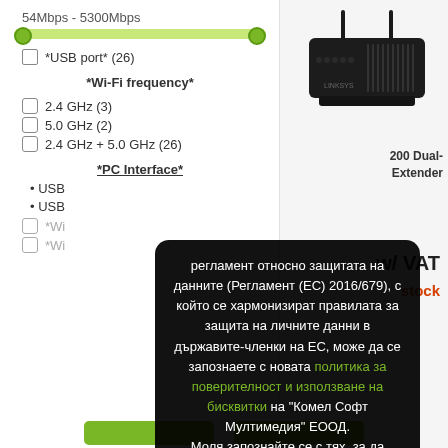54Mbps - 5300Mbps
*USB port* (26)
*Wi-Fi frequency*
2.4 GHz (3)
5.0 GHz (2)
2.4 GHz + 5.0 GHz (26)
*PC Interface*
USB
USB
*Wi
*Wi
[Figure (photo): Black wireless router with two antennas]
200 Dual-Extender
w/ VAT
stock
регламент относно защитата на данните (Регламент (ЕС) 2016/679), с който се хармонизират правилата за защита на личните данни в държавите-членки на ЕС, може да се запознаете с новата политика за поверителност и използване на бисквитки на "Комел Софт Мултимедия" ЕООД. Моля запознайте се с тях, за да продължите да използвате